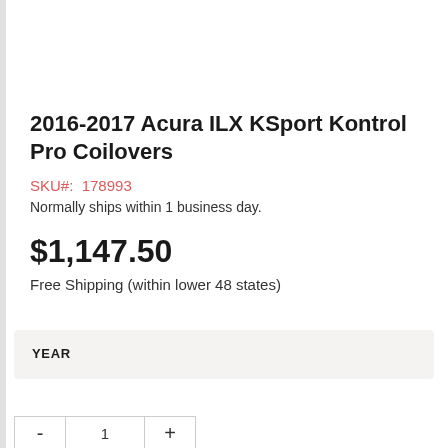2016-2017 Acura ILX KSport Kontrol Pro Coilovers
SKU#:  178993
Normally ships within 1 business day.
$1,147.50
Free Shipping (within lower 48 states)
| YEAR |
| --- |
- 1 +